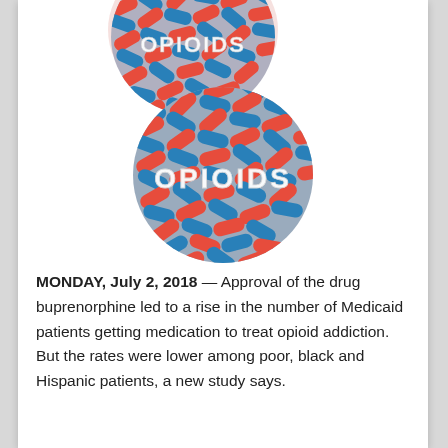[Figure (illustration): Two 3D spheres made of red and blue pills/capsules with the word OPIOIDS across the center, partially cropped at top, and a full sphere below it]
MONDAY, July 2, 2018 — Approval of the drug buprenorphine led to a rise in the number of Medicaid patients getting medication to treat opioid addiction. But the rates were lower among poor, black and Hispanic patients, a new study says.